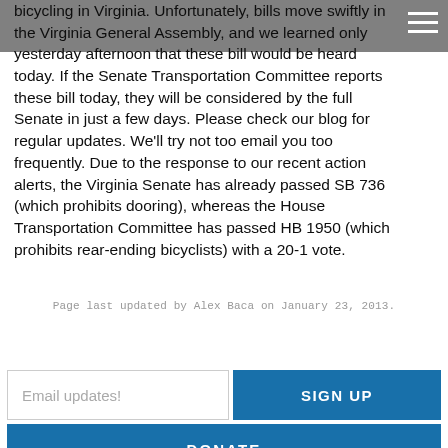bicycling in Virginia. Unfortunately, bills move swiftly in the Virginia General Assembly, and we learned only yesterday afternoon that these bill would be heard today. If the Senate Transportation Committee reports these bill today, they will be considered by the full Senate in just a few days. Please check our blog for regular updates. We'll try not too email you too frequently. Due to the response to our recent action alerts, the Virginia Senate has already passed SB 736 (which prohibits dooring), whereas the House Transportation Committee has passed HB 1950 (which prohibits rear-ending bicyclists) with a 20-1 vote.
Page last updated by Alex Baca on January 23, 2013.